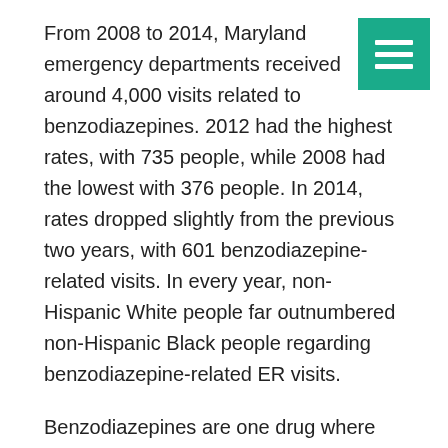From 2008 to 2014, Maryland emergency departments received around 4,000 visits related to benzodiazepines. 2012 had the highest rates, with 735 people, while 2008 had the lowest with 376 people. In 2014, rates dropped slightly from the previous two years, with 601 benzodiazepine-related visits. In every year, non-Hispanic White people far outnumbered non-Hispanic Black people regarding benzodiazepine-related ER visits.
Benzodiazepines are one drug where female visits often equaled and outnumbered male visits. In 2008, 166 men visited compared to 210 women. Women outnumbered men again in 2010 (239 men, 291 women), 2011 (297 men, 352 women), and 2014 (298 men, 303 women). Doctors tend to prescribe benzodiazepines more often to women than to men for anxiety-related conditions. Many people are unaware